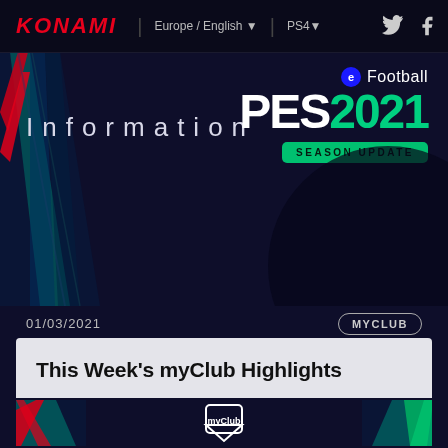KONAMI | Europe / English ▼ | PS4▼
[Figure (screenshot): Konami eFootball PES 2021 Season Update hero banner with decorative diagonal stripes and logo]
Information
01/03/2021
MYCLUB
This Week's myClub Highlights
[Figure (logo): myClub logo badge on dark banner with decorative diagonal color stripes]
See below for a breakdown of all the exciting events available in myClub this week.
Iconic Moment: MADRID ROSAS BB